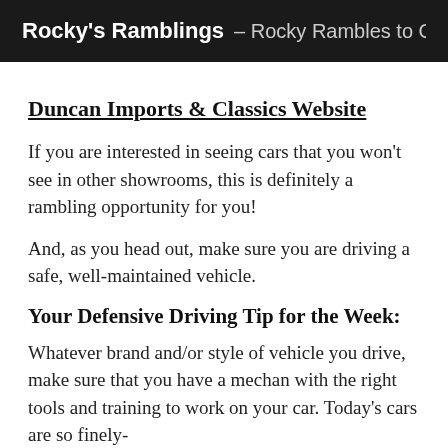Rocky's Ramblings – Rocky Rambles to Christianburg...
Duncan Imports & Classics Website
If you are interested in seeing cars that you won't see in other showrooms, this is definitely a rambling opportunity for you!
And, as you head out, make sure you are driving a safe, well-maintained vehicle.
Your Defensive Driving Tip for the Week:
Whatever brand and/or style of vehicle you drive, make sure that you have a mechan with the right tools and training to work on your car. Today's cars are so finely-